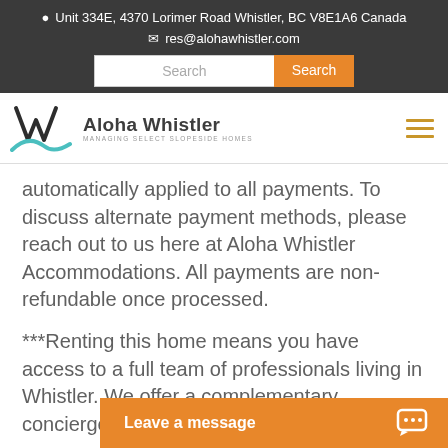Unit 334E, 4370 Lorimer Road Whistler, BC V8E1A6 Canada
res@alohawhistler.com
[Figure (logo): Aloha Whistler logo with W and wave mark, text: Aloha Whistler, Managing Select Slopeside Homes]
automatically applied to all payments. To discuss alternate payment methods, please reach out to us here at Aloha Whistler Accommodations. All payments are non-refundable once processed.
***Renting this home means you have access to a full team of professionals living in Whistler. We offer a complementary concierge service to all of o...